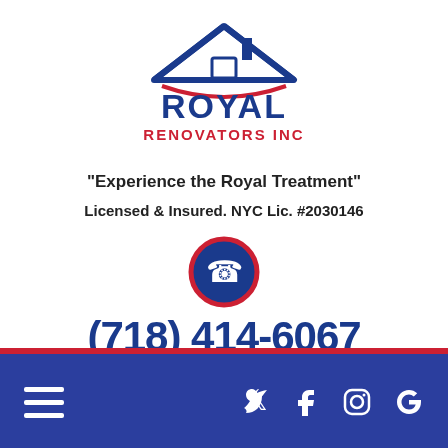[Figure (logo): Royal Renovators Inc logo with house roofline illustration in blue and red, company name in blue and red text]
"Experience the Royal Treatment"
Licensed & Insured. NYC Lic. #2030146
[Figure (illustration): Red-bordered circular phone icon with blue background and white telephone handset]
(718) 414-6067
Call Today for a Free Estimate!
[Figure (infographic): Dark blue navigation bar with white hamburger menu icon on the left and white social media icons (Twitter, Facebook, Instagram, Google) on the right, with red separator bar above]